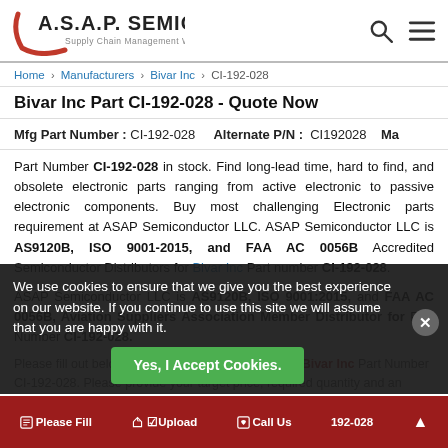A.S.A.P. SEMICONDUCTOR - Supply Chain Management Worldwide
Home > Manufacturers > Bivar Inc > CI-192-028
Bivar Inc Part CI-192-028 - Quote Now
Mfg Part Number : CI-192-028   Alternate P/N : CI192028   Ma
Part Number CI-192-028 in stock. Find long-lead time, hard to find, and obsolete electronic parts ranging from active electronic to passive electronic components. Buy most challenging Electronic parts requirement at ASAP Semiconductor LLC. ASAP Semiconductor LLC is AS9120B, ISO 9001-2015, and FAA AC 0056B Accredited Semiconductor Distributors for Bivar Inc Part number CI-192-028.
ASAP Semiconductor LLC is AS9120B, ISO 9001:2015, and FAA AC 0056B, Aviation Suppliers Association Member Distributor for Part Number CI-192-028.
Please fill out below form to get an instant quote for Bivar Inc Part Number CI-192-028...
We use cookies to ensure that we give you the best experience on our website. If you continue to use this site we will assume that you are happy with it.
Yes, I Accept Cookies.
Please Fill | Upload | Call Us | 192-028